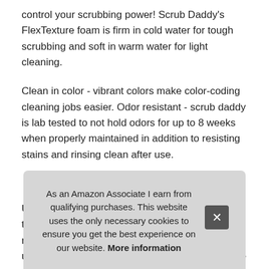control your scrubbing power! Scrub Daddy's FlexTexture foam is firm in cold water for tough scrubbing and soft in warm water for light cleaning.
Clean in color - vibrant colors make color-coding cleaning jobs easier. Odor resistant - scrub daddy is lab tested to not hold odors for up to 8 weeks when properly maintained in addition to resisting stains and rinsing clean after use.
More information #ad
Use him to wash anything from dinner dishes to the car. His eyes hold onto you for a 360 degree reach and mouth cleans both side of your utensils. Scratch free - safe to use on over a doze
E. A... for t... that cute AND functional, it's hard not to smile back.
As an Amazon Associate I earn from qualifying purchases. This website uses the only necessary cookies to ensure you get the best experience on our website. More information